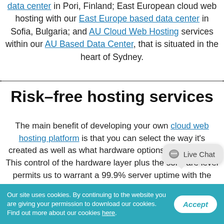data center in Pori, Finland; East European cloud web hosting with our East Europe based data center in Sofia, Bulgaria; and AU Cloud Web Hosting services within our AU Based Data Center, that is situated in the heart of Sydney.
Risk–free hosting services
The main benefit of developing your own cloud web hosting platform is that you can select the way it's created as well as what hardware options can be used. This control of the hardware layer plus the software level permits us to warrant a 99.9% server uptime with the Linux cloud web hosting service packages. And furthermore, as we engineered our custom network in every data center, we also guarantee a 99.9%
Our site uses cookies. By continuing to the website you are giving your permission to download our cookies. Find out more about our cookies here.